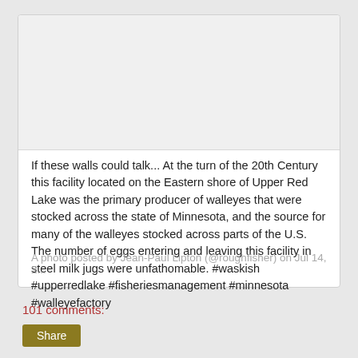[Figure (photo): Blank/white image placeholder area at the top of an Instagram embed card]
If these walls could talk... At the turn of the 20th Century this facility located on the Eastern shore of Upper Red Lake was the primary producer of walleyes that were stocked across the state of Minnesota, and the source for many of the walleyes stocked across parts of the U.S. The number of eggs entering and leaving this facility in steel milk jugs were unfathomable. #waskish #upperredlake #fisheriesmanagement #minnesota #walleyefactory
A photo posted by Jean-Paul Lipton (@roughfisher) on Jul 14, 2...
101 comments:
Share